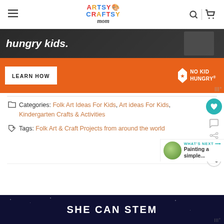Artsy Craftsy Mom — navigation header with hamburger menu, logo, search and cart icons
[Figure (photo): Advertisement banner: 'hungry kids.' text over dark background with child photo, orange bar below with LEARN HOW button and No Kid Hungry logo]
Categories: Folk Art Ideas For Kids, Art ideas For Kids, Kindergarten Crafts & Activities
Tags: Folk Art & Craft Projects from around the world
[Figure (infographic): What's Next panel showing thumbnail and text: Painting a simple...]
[Figure (infographic): Bottom advertisement banner: SHE CAN STEM on dark navy background with Mediavine logo]